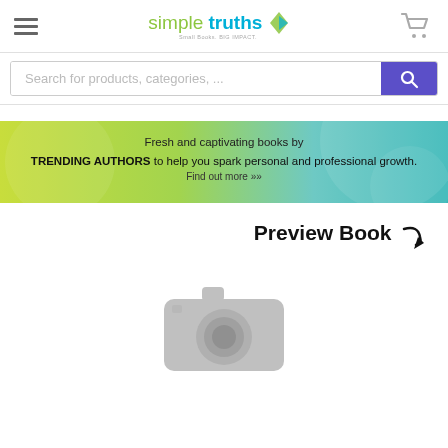[Figure (logo): Simple Truths logo with hamburger menu and cart icon in site header]
Search for products, categories, ...
[Figure (infographic): Promotional banner: Fresh and captivating books by TRENDING AUTHORS to help you spark personal and professional growth. Find out more >>]
Preview Book
[Figure (photo): Camera placeholder image icon in gray]